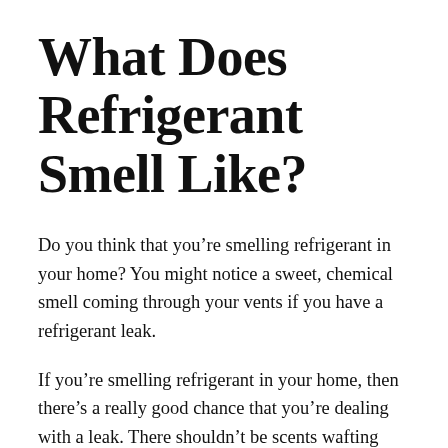What Does Refrigerant Smell Like?
Do you think that you’re smelling refrigerant in your home? You might notice a sweet, chemical smell coming through your vents if you have a refrigerant leak.
If you’re smelling refrigerant in your home, then there’s a really good chance that you’re dealing with a leak. There shouldn’t be scents wafting